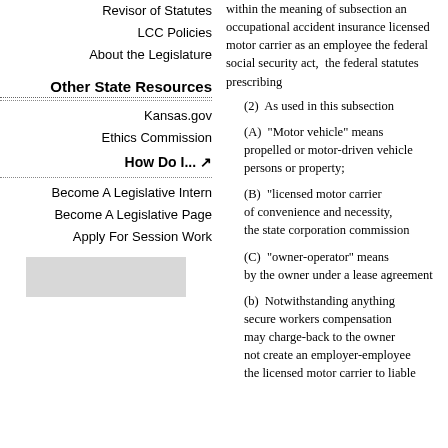Revisor of Statutes
LCC Policies
About the Legislature
Other State Resources
Kansas.gov
Ethics Commission
How Do I... ↗
Become A Legislative Intern
Become A Legislative Page
Apply For Session Work
within the meaning of subse... an occupational accident insu... licensed motor carrier as an e... the federal social security act,... the federal statutes prescribing...
(2) As used in this subs...
(A) "Motor vehicle" m... propelled or motor-driven ve... persons or property;
(B) "licensed motor ca... of convenience and necessity,... the state corporation commiss...
(C) "owner-operator" m... by the owner under a lease ag...
(b) Notwithstanding an... secure workers compensation... may charge-back to the owne... not create an employer-emplo... the licensed motor carrier to li...